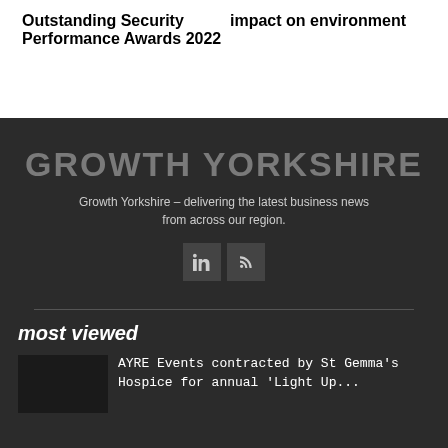Outstanding Security Performance Awards 2022
impact on environment
GROWTH YORKSHIRE
Growth Yorkshire – delivering the latest business news from across our region.
[Figure (other): LinkedIn icon button]
[Figure (other): RSS feed icon button]
most viewed
AYRE Events contracted by St Gemma's Hospice for annual 'Light Up...